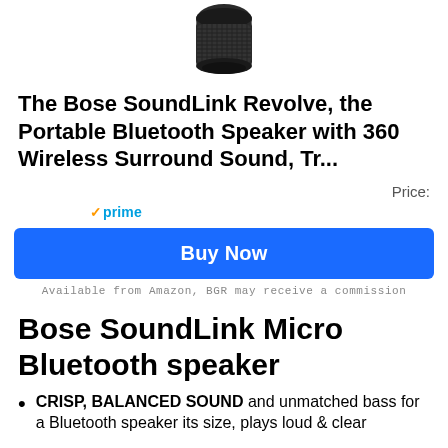[Figure (photo): Product photo of Bose SoundLink Revolve speaker, cylindrical black speaker viewed from above/side angle, partially cropped at top]
The Bose SoundLink Revolve, the Portable Bluetooth Speaker with 360 Wireless Surround Sound, Tr...
Price:
✓prime
Buy Now
Available from Amazon, BGR may receive a commission
Bose SoundLink Micro Bluetooth speaker
CRISP, BALANCED SOUND and unmatched bass for a Bluetooth speaker its size, plays loud & clear